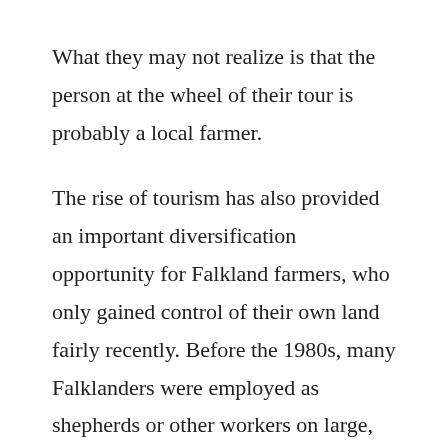What they may not realize is that the person at the wheel of their tour is probably a local farmer.
The rise of tourism has also provided an important diversification opportunity for Falkland farmers, who only gained control of their own land fairly recently. Before the 1980s, many Falklanders were employed as shepherds or other workers on large, absentee-owned farms, each of which supported a small settlement. Due to their isolation, the role of farm managers was much like that of a ship's captain: in addition to running the farm, managers performed marriages and burials and also handled disruptive behaviour (in some cases simply by